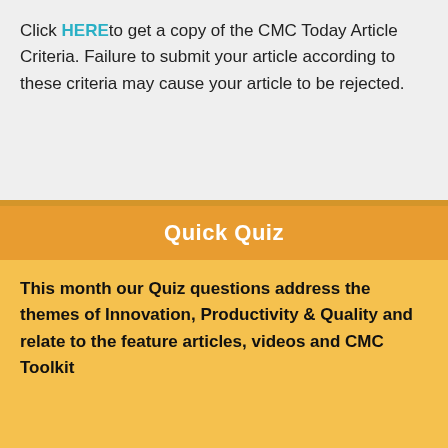Click HERE to get a copy of the CMC Today Article Criteria. Failure to submit your article according to these criteria may cause your article to be rejected.
Quick Quiz
This month our Quiz questions address the themes of Innovation, Productivity & Quality and relate to the feature articles, videos and CMC Toolkit